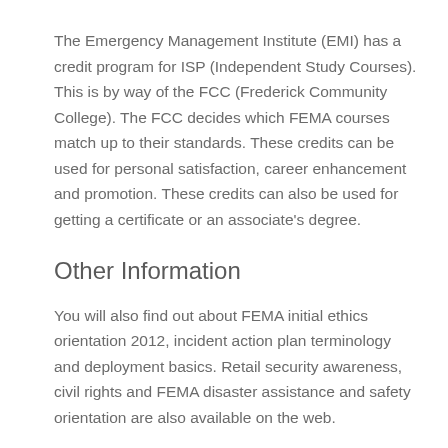The Emergency Management Institute (EMI) has a credit program for ISP (Independent Study Courses). This is by way of the FCC (Frederick Community College). The FCC decides which FEMA courses match up to their standards. These credits can be used for personal satisfaction, career enhancement and promotion. These credits can also be used for getting a certificate or an associate's degree.
Other Information
You will also find out about FEMA initial ethics orientation 2012, incident action plan terminology and deployment basics. Retail security awareness, civil rights and FEMA disaster assistance and safety orientation are also available on the web.